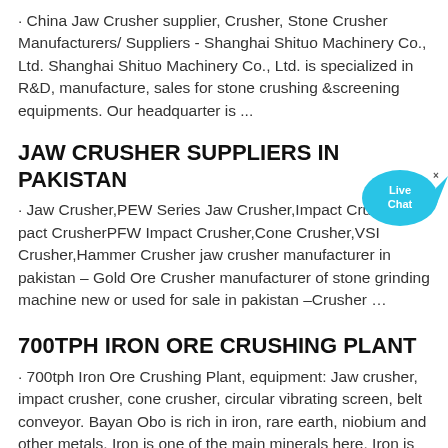· China Jaw Crusher supplier, Crusher, Stone Crusher Manufacturers/ Suppliers - Shanghai Shituo Machinery Co., Ltd. Shanghai Shituo Machinery Co., Ltd. is specialized in R&D, manufacture, sales for stone crushing &screening equipments. Our headquarter is ...
JAW CRUSHER SUPPLIERS IN PAKISTAN
· Jaw Crusher,PEW Series Jaw Crusher,Impact Crusher,Impact CrusherPFW Impact Crusher,Cone Crusher,VSI Crusher,Hammer Crusher jaw crusher manufacturer in pakistan – Gold Ore Crusher manufacturer of stone grinding machine new or used for sale in pakistan –Crusher ...
700TPH IRON ORE CRUSHING PLANT
· 700tph Iron Ore Crushing Plant, equipment: Jaw crusher, impact crusher, cone crusher, circular vibrating screen, belt conveyor. Bayan Obo is rich in iron, rare earth, niobium and other metals. Iron is one of the main minerals here. Iron is harder than most stones...